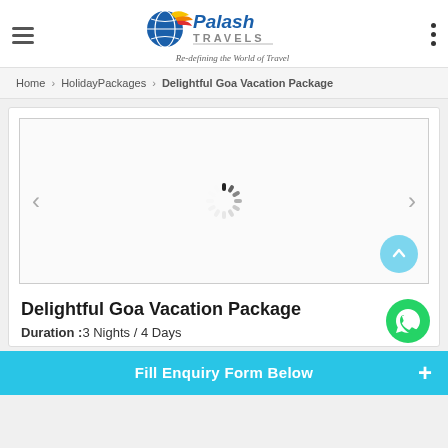Palash Travels — Re-defining the World of Travel
Home › HolidayPackages › Delightful Goa Vacation Package
[Figure (screenshot): Image carousel/slider with loading spinner in center, left and right navigation arrows, and a scroll-to-top circular button in lower right]
Delightful Goa Vacation Package
Duration :3 Nights / 4 Days
Fill Enquiry Form Below